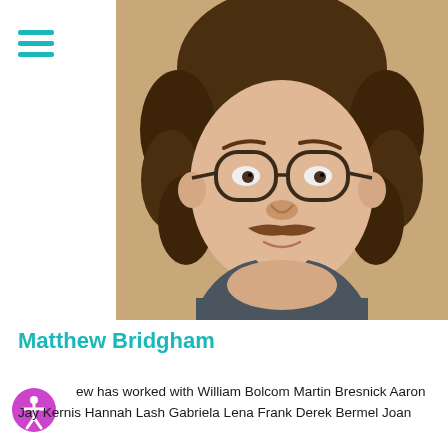[Figure (photo): Headshot photo of Matthew Bridgham, a young man with curly brown hair, round glasses, and a mustache, wearing a dark grey t-shirt, against a warm tan background.]
Matthew Bridgham
Matthew has worked with William Bolcom Martin Bresnick Aaron Jay Kernis Hannah Lash Gabriela Lena Frank Derek Bermel Joan